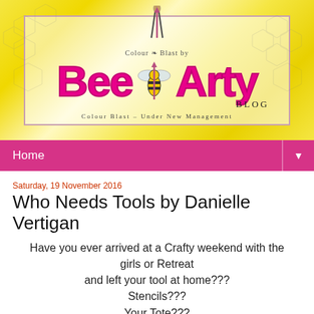[Figure (illustration): Bee Arty Blog header banner with yellow textured background, honeycomb patterns, large hot pink 'Bee Arty' logo text, bee illustration, paintbrushes, and subtitle 'Colour Blast - Under New Management']
Home ▼
Saturday, 19 November 2016
Who Needs Tools by Danielle Vertigan
Have you ever arrived at a Crafty weekend with the girls or Retreat
and left your tool at home???
Stencils???
Your Tote???